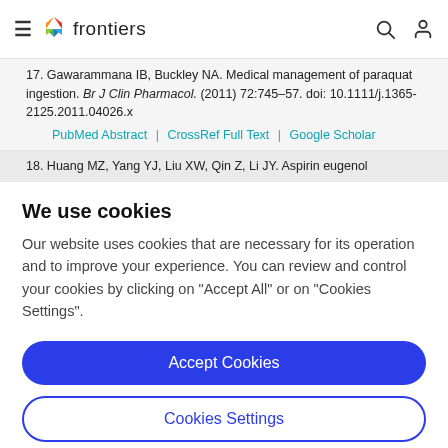frontiers
17. Gawarammana IB, Buckley NA. Medical management of paraquat ingestion. Br J Clin Pharmacol. (2011) 72:745–57. doi: 10.1111/j.1365-2125.2011.04026.x
PubMed Abstract | CrossRef Full Text | Google Scholar
18. Huang MZ, Yang YJ, Liu XW, Qin Z, Li JY. Aspirin eugenol
We use cookies
Our website uses cookies that are necessary for its operation and to improve your experience. You can review and control your cookies by clicking on "Accept All" or on "Cookies Settings".
Accept Cookies
Cookies Settings